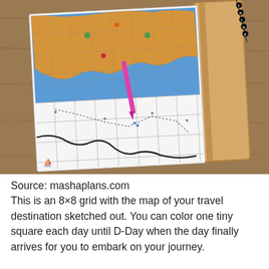[Figure (photo): A photo of an open travel journal/notebook resting on a wooden table. The notebook is open to a page showing a hand-drawn map on an 8x8 grid. The map features a golden-brown landmass shape on a blue background (ocean), with a black curved trail/path drawn across the lower portion of the grid, dotted lines indicating a route, small illustrated icons (boat, figures, markers), and a pink pen resting on the page. On the right side of the notebook, there is a tan leather cover with a bead bracelet spelling 'THINK' visible at the top right corner.]
Source: mashaplans.com
This is an 8×8 grid with the map of your travel destination sketched out. You can color one tiny square each day until D-Day when the day finally arrives for you to embark on your journey.